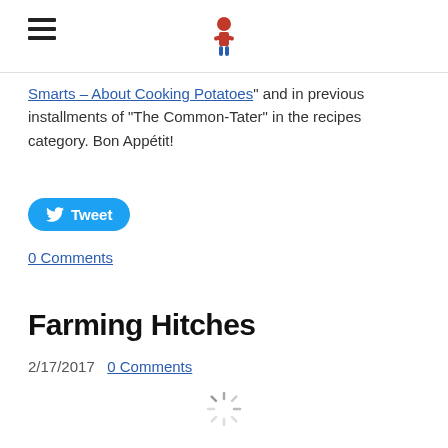[hamburger menu icon] [site logo]
Smarts – About Cooking Potatoes" and in previous installments of "The Common-Tater" in the recipes category. Bon Appétit!
[Figure (other): Twitter Tweet button (blue rounded pill button with bird icon and 'Tweet' text)]
0 Comments
Farming Hitches
2/17/2017   0 Comments
[Figure (other): Loading spinner icon at bottom center of page]